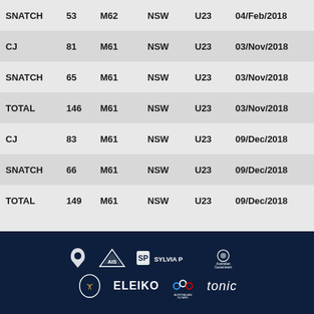| Lift | Weight | Class | State | Age Cat | Date |
| --- | --- | --- | --- | --- | --- |
| SNATCH | 53 | M62 | NSW | U23 | 04/Feb/2018 |
| CJ | 81 | M61 | NSW | U23 | 03/Nov/2018 |
| SNATCH | 65 | M61 | NSW | U23 | 03/Nov/2018 |
| TOTAL | 146 | M61 | NSW | U23 | 03/Nov/2018 |
| CJ | 83 | M61 | NSW | U23 | 09/Dec/2018 |
| SNATCH | 66 | M61 | NSW | U23 | 09/Dec/2018 |
| TOTAL | 149 | M61 | NSW | U23 | 09/Dec/2018 |
[Figure (logo): Footer with sponsor logos: Telstra, AIS, Sylvia P, Australian Government, Commonwealth weightlifting, Eleiko, Australian Olympic Committee, Tonic]